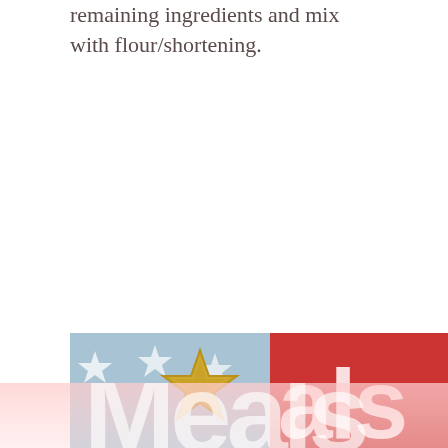remaining ingredients and mix with flour/shortening.
[Figure (photo): A patriotic-themed photo showing a gold star cookie cutter in the foreground, with a red and blue American-flag-inspired background with white stars and white letters partially visible.]